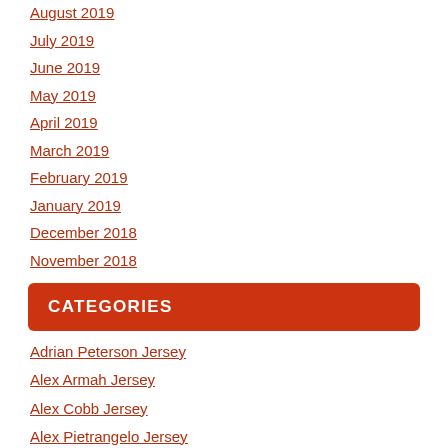August 2019
July 2019
June 2019
May 2019
April 2019
March 2019
February 2019
January 2019
December 2018
November 2018
CATEGORIES
Adrian Peterson Jersey
Alex Armah Jersey
Alex Cobb Jersey
Alex Pietrangelo Jersey
Alex Tuch Jersey
Alex Wilson Jersey
Alexander Radulov Jersey
Allen Robinson Jersey